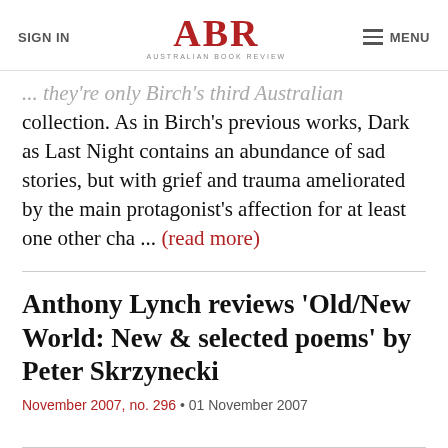SIGN IN | ABR AUSTRALIAN BOOK REVIEW | MENU
... they're only Birch's third Australian collection. As in Birch's previous works, Dark as Last Night contains an abundance of sad stories, but with grief and trauma ameliorated by the main protagonist's affection for at least one other cha ... (read more)
Anthony Lynch reviews 'Old/New World: New & selected poems' by Peter Skrzynecki
November 2007, no. 296 • 01 November 2007